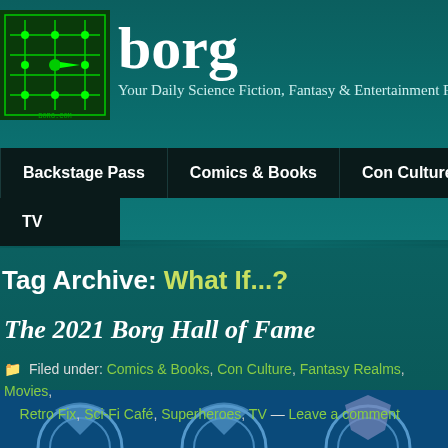borg — Your Daily Science Fiction, Fantasy & Entertainment F
[Figure (logo): Green circuit board logo icon for Borg website]
Backstage Pass   Comics & Books   Con Culture   Fant   TV
Tag Archive: What If...?
The 2021 Borg Hall of Fame
Filed under: Comics & Books, Con Culture, Fantasy Realms, Movies, Retro Fix, Sci-Fi Café, Superheroes, TV — Leave a comment
[Figure (screenshot): Bottom blue strip with partial icon images]